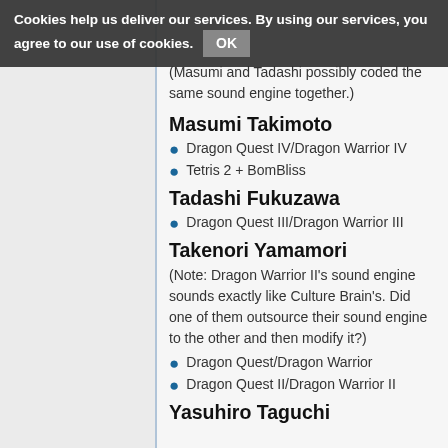Cookies help us deliver our services. By using our services, you agree to our use of cookies. OK
(Masumi and Tadashi possibly coded the same sound engine together.)
Masumi Takimoto
Dragon Quest IV/Dragon Warrior IV
Tetris 2 + BomBliss
Tadashi Fukuzawa
Dragon Quest III/Dragon Warrior III
Takenori Yamamori
(Note: Dragon Warrior II's sound engine sounds exactly like Culture Brain's. Did one of them outsource their sound engine to the other and then modify it?)
Dragon Quest/Dragon Warrior
Dragon Quest II/Dragon Warrior II
Yasuhiro Taguchi